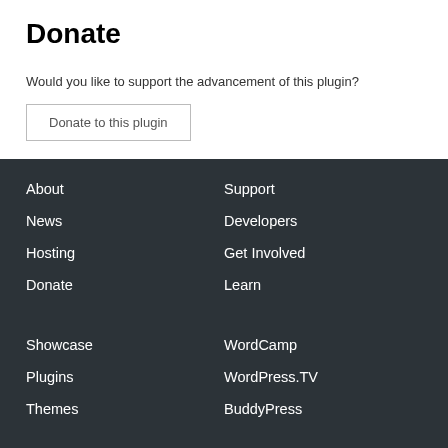Donate
Would you like to support the advancement of this plugin?
Donate to this plugin
About
News
Hosting
Donate
Support
Developers
Get Involved
Learn
Showcase
WordCamp
Plugins
WordPress.TV
Themes
BuddyPress